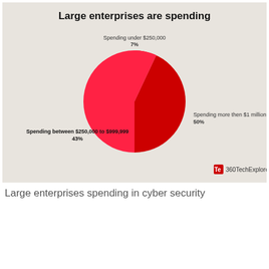[Figure (pie-chart): Large enterprises are spending]
Large enterprises spending in cyber security